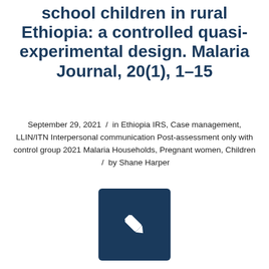school children in rural Ethiopia: a controlled quasi-experimental design. Malaria Journal, 20(1), 1–15
September 29, 2021 / in Ethiopia IRS, Case management, LLIN/ITN Interpersonal communication Post-assessment only with control group 2021 Malaria Households, Pregnant women, Children / by Shane Harper
[Figure (illustration): Dark navy blue square button with a white pencil/edit icon in the center]